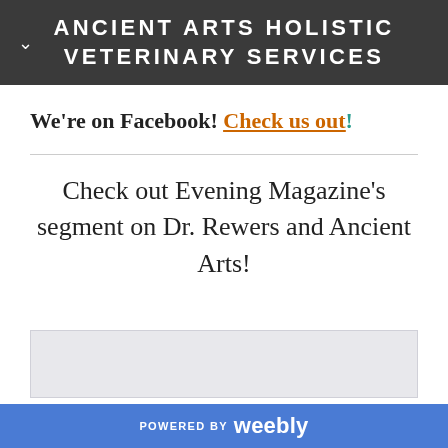ANCIENT ARTS HOLISTIC VETERINARY SERVICES
We're on Facebook! Check us out!
Check out Evening Magazine's segment on Dr. Rewers and Ancient Arts!
[Figure (other): Light gray video placeholder box]
POWERED BY weebly